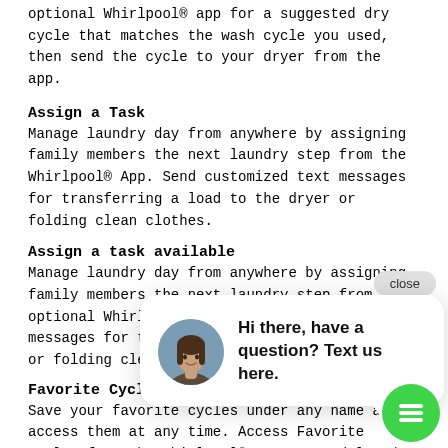optional Whirlpool® app for a suggested dry cycle that matches the wash cycle you used, then send the cycle to your dryer from the app.
Assign a Task
Manage laundry day from anywhere by assigning family members the next laundry step from the Whirlpool® App. Send customized text messages for transferring a load to the dryer or folding clean clothes.
Assign a task available
Manage laundry day from anywhere by assigning family members the next laundry step from the optional Whirlpool® App. Send customized text messages for transferring a load to the dryer or folding clean clothes.
Favorite Cycles
Save your favorite cycles under any name and access them at any time. Access Favorite Cycles from the Whirlpool® App to send laundry cycles to your washer and start the load remotely.
[Figure (screenshot): Chat widget popup overlay with close button, avatar of a woman, and message 'Hi there, have a question? Text us here.' with a green chat bubble button below.]